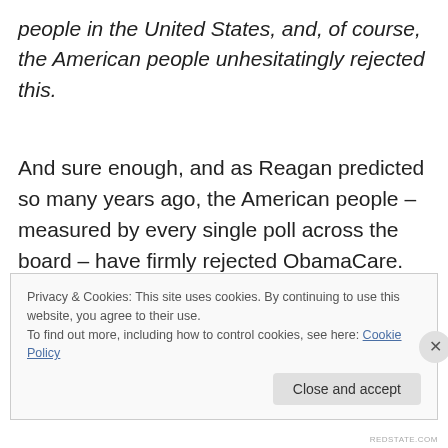people in the United States, and, of course, the American people unhesitatingly rejected this.
And sure enough, and as Reagan predicted so many years ago, the American people – measured by every single poll across the board – have firmly rejected ObamaCare.
Privacy & Cookies: This site uses cookies. By continuing to use this website, you agree to their use.
To find out more, including how to control cookies, see here: Cookie Policy
REDSTATE.COM